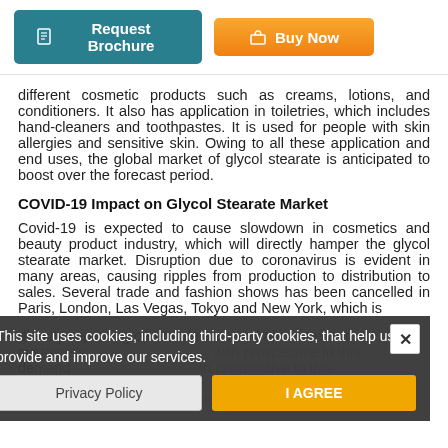[Figure (other): Two buttons: 'Request Brochure' (teal) and 'Buy Now' (orange gradient)]
different cosmetic products such as creams, lotions, and conditioners. It also has application in toiletries, which includes hand-cleaners and toothpastes. It is used for people with skin allergies and sensitive skin. Owing to all these application and end uses, the global market of glycol stearate is anticipated to boost over the forecast period.
COVID-19 Impact on Glycol Stearate Market
Covid-19 is expected to cause slowdown in cosmetics and beauty product industry, which will directly hamper the glycol stearate market. Disruption due to coronavirus is evident in many areas, causing ripples from production to distribution to sales. Several trade and fashion shows has been cancelled in Paris, London, Las Vegas, Tokyo and New York, which is directly impacting on brand name and also affects the cu... with prospective In this period, owing to th... are in COVID-19 conditions with Italy and France in Lockdown...
This site uses cookies, including third-party cookies, that help us to provide and improve our services.